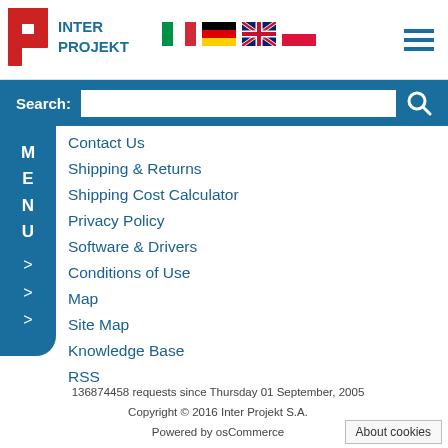[Figure (logo): Inter Projekt logo with red IP letters and blue text, alongside Italian, German, UK and Polish flag icons, and a hamburger menu icon]
Search:
Contact Us
Shipping & Returns
Shipping Cost Calculator
Privacy Policy
Software & Drivers
Conditions of Use
Map
Site Map
Knowledge Base
RSS
136874458 requests since Thursday 01 September, 2005
Copyright © 2016 Inter Projekt S.A.
Powered by osCommerce